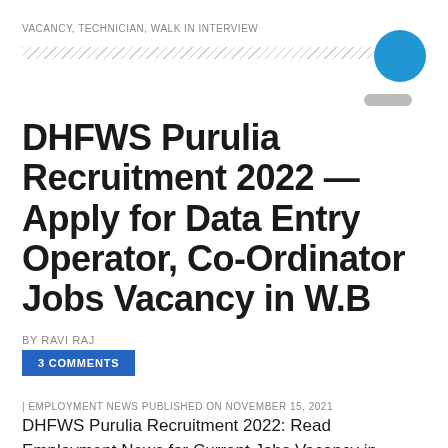VACANCY, TECHNICIAN, WALK IN INTERVIEW
DHFWS Purulia Recruitment 2022 — Apply for Data Entry Operator, Co-Ordinator Jobs Vacancy in W.B
BY RAVI RAJ
3 COMMENTS
| EMPLOYMENT NEWS PUBLISHED ON NOVEMBER 15, 2021
DHFWS Purulia Recruitment 2022: Read Employment News for Current Jobs Vacancy in